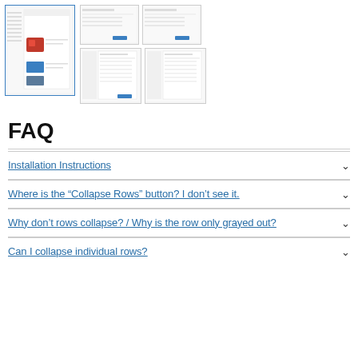[Figure (screenshot): Row of plugin/software UI screenshots: one large thumbnail (selected, blue border) on the left showing a table view with red icon and image thumbnails, and four smaller screenshots on the right showing form/settings dialogs.]
FAQ
Installation Instructions
Where is the “Collapse Rows” button? I don’t see it.
Why don’t rows collapse? / Why is the row only grayed out?
Can I collapse individual rows?